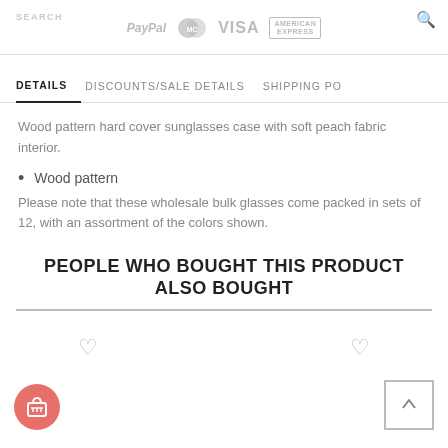SEARCH | PayPal | MasterCard | VISA | AMERICAN EXPRESS
DETAILS | DISCOUNTS/SALE DETAILS | SHIPPING PO
Wood pattern hard cover sunglasses case with soft peach fabric interior.
Wood pattern
Please note that these wholesale bulk glasses come packed in sets of 12, with an assortment of the colors shown.
PEOPLE WHO BOUGHT THIS PRODUCT ALSO BOUGHT